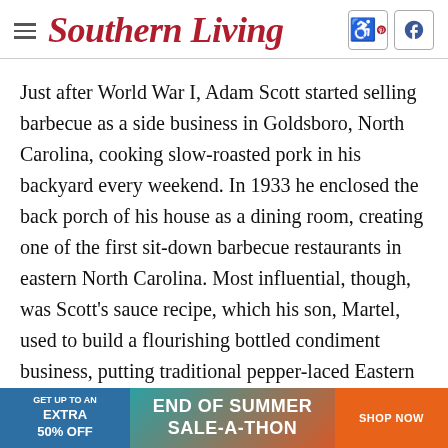Southern Living
Just after World War I, Adam Scott started selling barbecue as a side business in Goldsboro, North Carolina, cooking slow-roasted pork in his backyard every weekend. In 1933 he enclosed the back porch of his house as a dining room, creating one of the first sit-down barbecue restaurants in eastern North Carolina. Most influential, though, was Scott's sauce recipe, which his son, Martel, used to build a flourishing bottled condiment business, putting traditional pepper-laced Eastern North Carolina-style vinegar sauce on grocery store shelves.
[Figure (infographic): End of Summer Sale-A-Thon advertisement banner: GET UP TO AN EXTRA 50% OFF | END OF SUMMER SALE-A-THON | SHOP NOW]